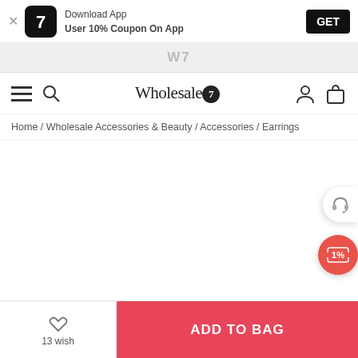Download App · User 10% Coupon On App · GET
[Figure (logo): W7 app icon — black background with stylized '7' in rhinestones]
[Figure (logo): W7 grey banner with white 'W7' text]
[Figure (logo): Wholesale7 logo with navigation icons (hamburger, search, user, bag)]
Home / Wholesale Accessories & Beauty / Accessories / Earrings
[Figure (other): Headset customer support floating button]
[Figure (other): Red coupon/discount floating button with percent icon]
13 wish
ADD TO BAG